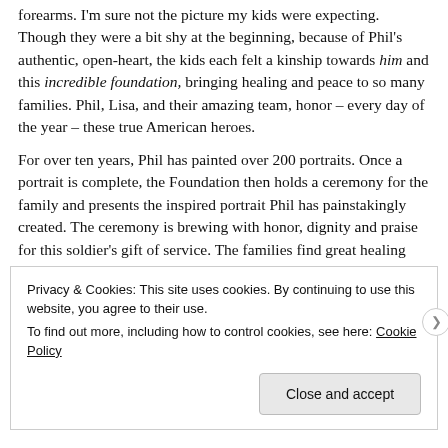forearms. I'm sure not the picture my kids were expecting. Though they were a bit shy at the beginning, because of Phil's authentic, open-heart, the kids each felt a kinship towards him and this incredible foundation, bringing healing and peace to so many families. Phil, Lisa, and their amazing team, honor – every day of the year – these true American heroes.
For over ten years, Phil has painted over 200 portraits. Once a portrait is complete, the Foundation then holds a ceremony for the family and presents the inspired portrait Phil has painstakingly created. The ceremony is brewing with honor, dignity and praise for this soldier's gift of service. The families find great healing and peace with Phil's inspired rendition of their
Privacy & Cookies: This site uses cookies. By continuing to use this website, you agree to their use.
To find out more, including how to control cookies, see here: Cookie Policy
Close and accept